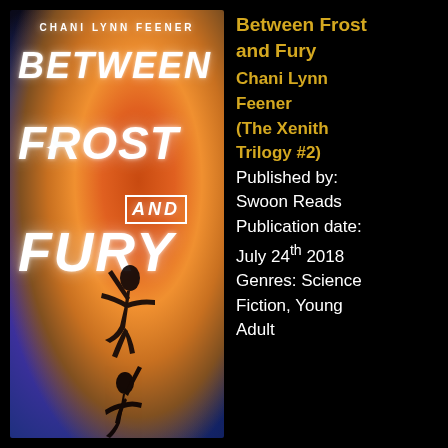[Figure (illustration): Book cover of 'Between Frost and Fury' by Chani Lynn Feener showing two silhouetted human figures floating/flying against a dramatic cosmic background with fire, nebula clouds, and stars in orange, purple, and blue tones.]
Between Frost and Fury
Chani Lynn Feener
(The Xenith Trilogy #2)
Published by: Swoon Reads
Publication date: July 24th 2018
Genres: Science Fiction, Young Adult